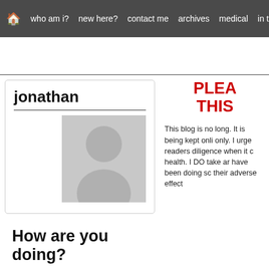🏠  who am i?  new here?  contact me  archives  medical  in the
jonathan
[Figure (illustration): Generic gray silhouette avatar placeholder image]
PLEA THIS
This blog is no long. It is being kept onli only. I urge readers diligence when it c health. I DO take a have been doing so their adverse effect
How are you doing?